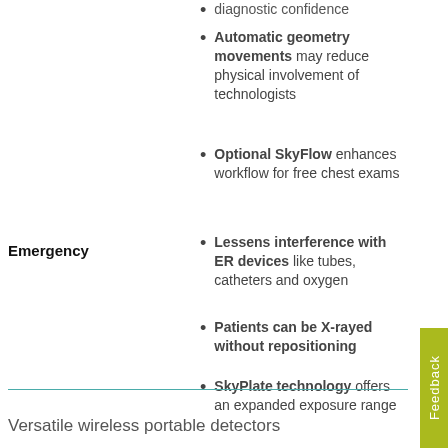diagnostic confidence
Automatic geometry movements may reduce physical involvement of technologists
Optional SkyFlow enhances workflow for free chest exams
Emergency
Lessens interference with ER devices like tubes, catheters and oxygen
Patients can be X-rayed without repositioning
SkyPlate technology offers an expanded exposure range
Versatile wireless portable detectors